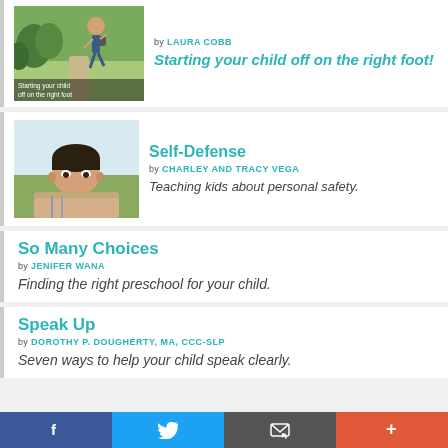[Figure (photo): Child running on a path with text overlay 'Starting your child off on the right foot']
Starting your child off on the right foot!
by LAURA COBB
Starting your child off on the right foot!
Self-Defense
by CHARLEY AND TRACY VEGA
Teaching kids about personal safety.
[Figure (photo): Young boy resting chin on hands, looking thoughtful, outdoors]
So Many Choices
by JENIFER WANA
Finding the right preschool for your child.
Speak Up
by DOROTHY P. DOUGHERTY, MA, CCC-SLP
Seven ways to help your child speak clearly.